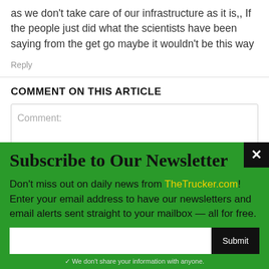as we don't take care of our infrastructure as it is,, If the people just did what the scientists have been saying from the get go maybe it wouldn't be this way
Reply
COMMENT ON THIS ARTICLE
Comment:
Subscribe to Our Newsletter
Don't miss out on daily news from TheTrucker.com! Enter your email address to have our newsletters and email alerts sent straight to your mailbox — all for free.
✓ We don't share your information with anyone.